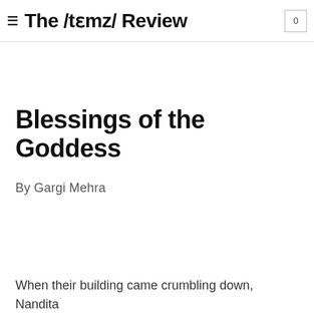≡ The /tɛmz/ Review 0
Blessings of the Goddess
By Gargi Mehra
When their building came crumbling down, Nandita